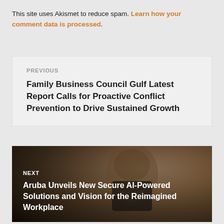This site uses Akismet to reduce spam. Learn how your comment data is processed.
PREVIOUS
Family Business Council Gulf Latest Report Calls for Proactive Conflict Prevention to Drive Sustained Growth
NEXT
Aruba Unveils New Secure AI-Powered Solutions and Vision for the Reimagined Workplace
[Figure (photo): Photo of a man with a moustache wearing a dark shirt, used as background for the NEXT navigation block]